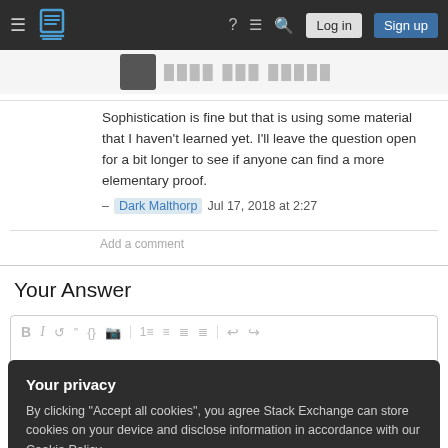Stack Exchange navigation bar with hamburger menu, logo, help, inbox, search icons, Log in and Sign up buttons
[Figure (screenshot): Partial profile image strip with avatar and blurred username text]
Sophistication is fine but that is using some material that I haven't learned yet. I'll leave the question open for a bit longer to see if anyone can find a more elementary proof.
– Dark Malthorp  Jul 17, 2018 at 2:27
Add a comment
Your Answer
[Figure (screenshot): Text editor toolbar with Bold, Italic, link, blockquote, code, image, numbered list, bullet list, alignment and undo/redo buttons]
Your privacy
By clicking "Accept all cookies", you agree Stack Exchange can store cookies on your device and disclose information in accordance with our Cookie Policy.
Accept all cookies  Customize settings